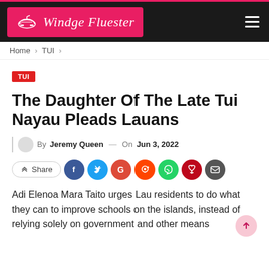Windge Fluester
Home > TUI >
TUI
The Daughter Of The Late Tui Nayau Pleads Lauans
By Jeremy Queen — On Jun 3, 2022
Share
Adi Elenoa Mara Taito urges Lau residents to do what they can to improve schools on the islands, instead of relying solely on government and other means